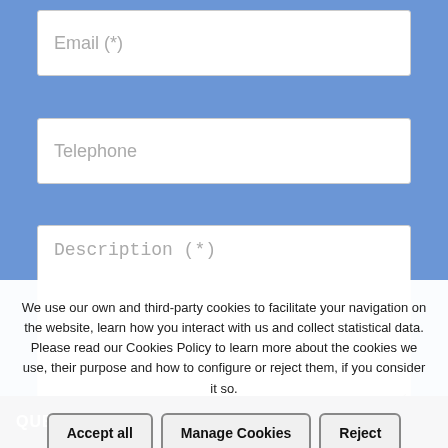Email (*)
Telephone
Description (*)
When you press the button "SEND" you confirm you've read, understood and accepted the conditions of our Privacy Policy shown in this LINK
We use our own and third-party cookies to facilitate your navigation on the website, learn how you interact with us and collect statistical data. Please read our Cookies Policy to learn more about the cookies we use, their purpose and how to configure or reject them, if you consider it so.
Accept all
Manage Cookies
Reject
QUESTION?